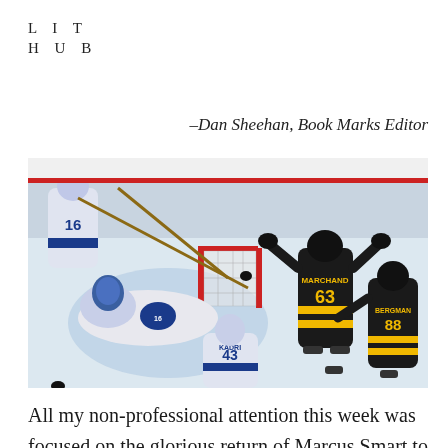LIT HUB
–Dan Sheehan, Book Marks Editor
[Figure (photo): Ice hockey action photo showing Boston Bruins player Marchand #63 celebrating near the net while Toronto Maple Leafs goalie is on the ice. Another Bruins player #8 Bergman is visible at right. Maple Leafs player Kadri #43 is in the foreground.]
All my non-professional attention this week was focused on the glorious return of Marcus Smart to the Celtics and the even more glorious Game 7 win by the Bruins over the Maple